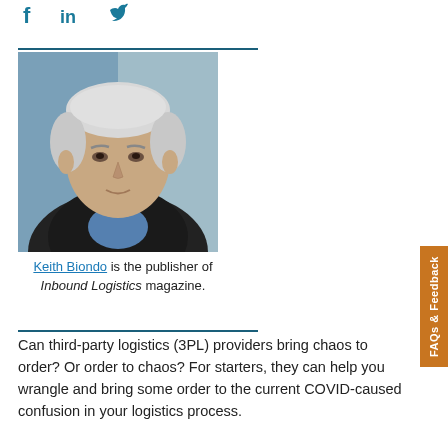[Figure (illustration): Social media icons: Facebook (f), LinkedIn (in), Twitter (bird icon) in teal/dark cyan color]
[Figure (photo): Headshot photo of Keith Biondo, a middle-aged man with silver/white hair wearing a dark jacket and blue shirt, photographed against a blue-gray background]
Keith Biondo is the publisher of Inbound Logistics magazine.
Can third-party logistics (3PL) providers bring chaos to order? Or order to chaos? For starters, they can help you wrangle and bring some order to the current COVID-caused confusion in your logistics process.
We have a question about logistics...